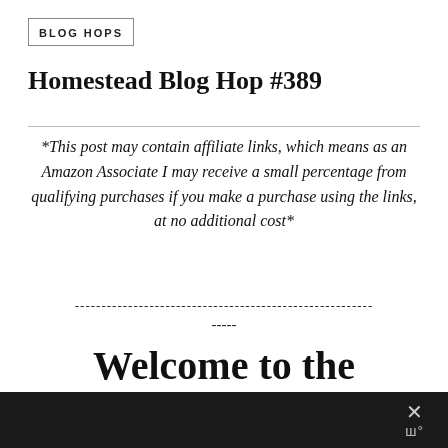BLOG HOPS
Homestead Blog Hop #389
*This post may contain affiliate links, which means as an Amazon Associate I may receive a small percentage from qualifying purchases if you make a purchase using the links, at no additional cost*
-----
Welcome to the Homestead Blog Hop!